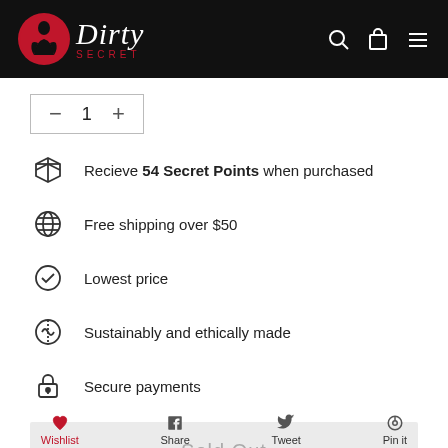Dirty Secret – navigation header with logo, search, cart, and menu icons
- 1 +
Recieve 54 Secret Points when purchased
Free shipping over $50
Lowest price
Sustainably and ethically made
Secure payments
Sold Out
Wishlist  Share  Tweet  Pin it